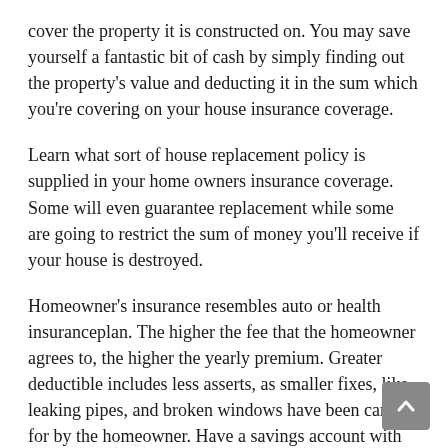cover the property it is constructed on. You may save yourself a fantastic bit of cash by simply finding out the property's value and deducting it in the sum which you're covering on your house insurance coverage.
Learn what sort of house replacement policy is supplied in your home owners insurance coverage. Some will even guarantee replacement while some are going to restrict the sum of money you'll receive if your house is destroyed.
Homeowner's insurance resembles auto or health insuranceplan. The higher the fee that the homeowner agrees to, the higher the yearly premium. Greater deductible includes less asserts, as smaller fixes, like leaking pipes, and broken windows have been cared for by the homeowner. Have a savings account with sufficient funds to cover the repairs that your homeowner's coverage won't cover.